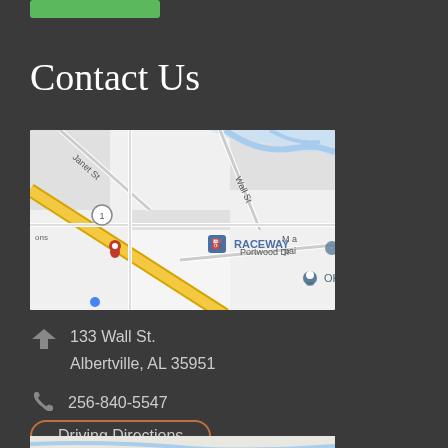[Figure (other): Green button/bar at top]
Contact Us
[Figure (map): Google Maps screenshot showing 133 Wall St area in Albertville, AL. Shows Janet St, Wall St, Portwood Dr, a yellow diagonal road (highway), Raceway gas station marker, OK Foods marker, and other location pins labeled 'ons'.]
133 Wall St.
Albertville, AL 35951
256-840-5547
Driving Directions
[Figure (map): Partial map visible at bottom of page]